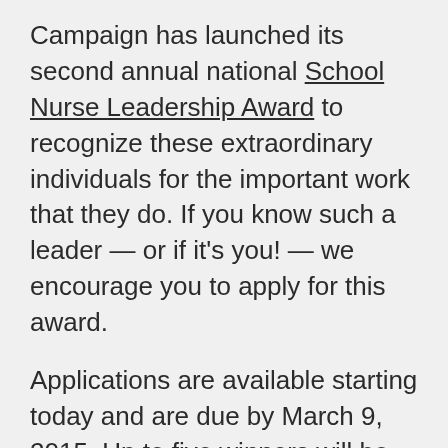Campaign has launched its second annual national School Nurse Leadership Award to recognize these extraordinary individuals for the important work that they do. If you know such a leader — or if it's you! — we encourage you to apply for this award.
Applications are available starting today and are due by March 9, 2015. Up to five winners will be announced on National School Nurse Day, May 6, 2015, and will be highlighted among their peers across the country. Winners will also receive a $500 School Health gift card to use toward a catalog or online purchase.